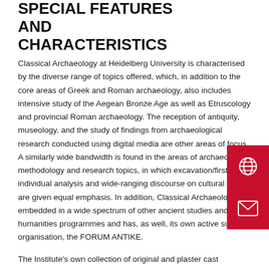SPECIAL FEATURES AND CHARACTERISTICS
Classical Archaeology at Heidelberg University is characterised by the diverse range of topics offered, which, in addition to the core areas of Greek and Roman archaeology, also includes intensive study of the Aegean Bronze Age as well as Etruscology and provincial Roman archaeology. The reception of antiquity, museology, and the study of findings from archaeological research conducted using digital media are other areas of focus. A similarly wide bandwidth is found in the areas of archaeological methodology and research topics, in which excavation/first-hand individual analysis and wide-ranging discourse on cultural theory are given equal emphasis. In addition, Classical Archaeology is embedded in a wide spectrum of other ancient studies and humanities programmes and has, as well, its own active support organisation, the FORUM ANTIKE.
The Institute's own collection of original and plaster cast